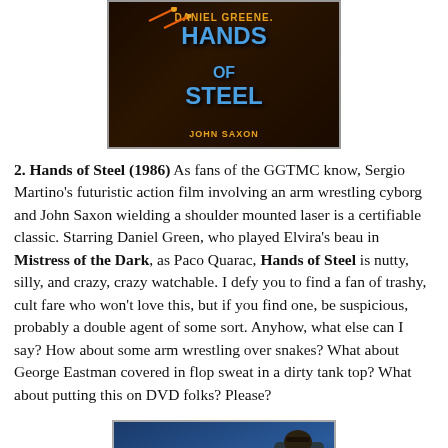[Figure (photo): Movie poster for Hands of Steel (1986) with dark background, blue stylized text reading DANIEL GREENE, HANDS OF STEEL, JOHN SAXON]
2. Hands of Steel (1986) As fans of the GGTMC know, Sergio Martino's futuristic action film involving an arm wrestling cyborg and John Saxon wielding a shoulder mounted laser is a certifiable classic. Starring Daniel Green, who played Elvira's beau in Mistress of the Dark, as Paco Quarac, Hands of Steel is nutty, silly, and crazy, crazy watchable. I defy you to find a fan of trashy, cult fare who won't love this, but if you find one, be suspicious, probably a double agent of some sort. Anyhow, what else can I say? How about some arm wrestling over snakes? What about George Eastman covered in flop sweat in a dirty tank top? What about putting this on DVD folks? Please?
[Figure (photo): Movie poster for a Mickey Spillane film with blue background and yellow text reading MICKEY SPILLANE, with a figure in a bowler hat on the right side]